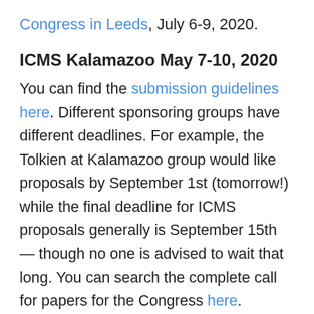Congress in Leeds, July 6-9, 2020.
ICMS Kalamazoo May 7-10, 2020
You can find the submission guidelines here. Different sponsoring groups have different deadlines. For example, the Tolkien at Kalamazoo group would like proposals by September 1st (tomorrow!) while the final deadline for ICMS proposals generally is September 15th — though no one is advised to wait that long. You can search the complete call for papers for the Congress here.